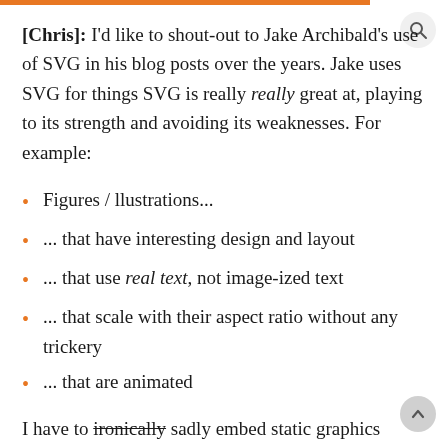[Chris]: I'd like to shout-out to Jake Archibald's use of SVG in his blog posts over the years. Jake uses SVG for things SVG is really really great at, playing to its strength and avoiding its weaknesses. For example:
Figures / Illustrations...
... that have interesting design and layout
... that use real text, not image-ized text
... that scale with their aspect ratio without any trickery
... that are animated
I have to ironically sadly embed static graphics here to show you as this is going out over email